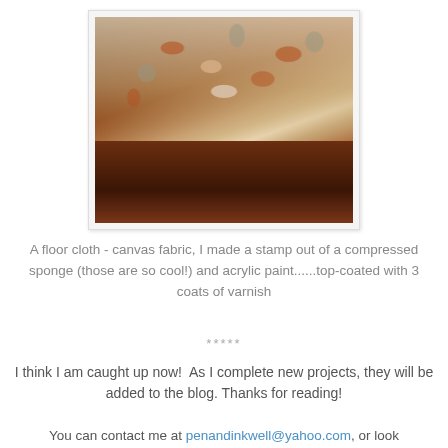[Figure (photo): A floor cloth made from canvas fabric placed on a dark wooden table. The cloth has a floral stamp pattern in rust/orange and grey tones on a cream/beige background, created with compressed sponge and acrylic paint.]
A floor cloth - canvas fabric, I made a stamp out of a compressed sponge (those are so cool!) and acrylic paint......top-coated with 3 coats of varnish
*****
I think I am caught up now!  As I complete new projects, they will be added to the blog. Thanks for reading!
You can contact me at penandinkwell@yahoo.com, or look